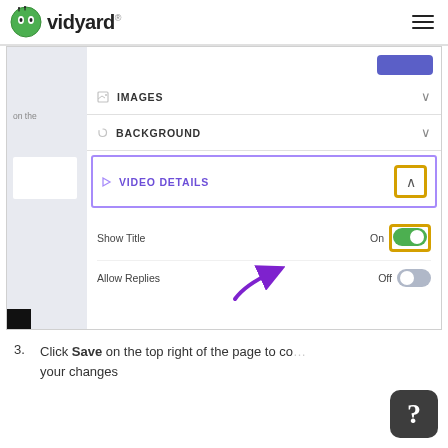Vidyard
[Figure (screenshot): Vidyard UI screenshot showing the right panel with IMAGES and BACKGROUND collapsed sections, VIDEO DETAILS expanded section highlighted with purple border and expand button highlighted with yellow border, and toggle controls for 'Show Title' (On, green toggle, highlighted yellow) and 'Allow Replies' (Off, grey toggle), with a purple arrow pointing to the Show Title toggle.]
Click Save on the top right of the page to confirm your changes